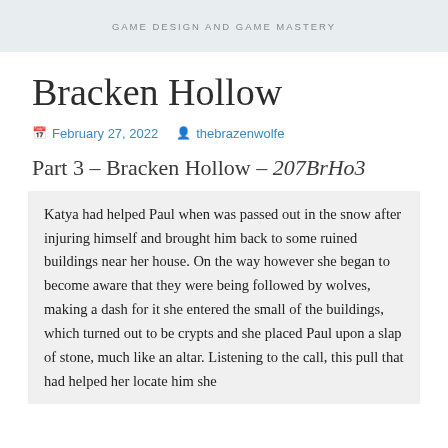GAME DESIGN AND GAME MASTERY
Bracken Hollow
February 27, 2022   thebrazenwolfe
Part 3 – Bracken Hollow – 207BrHo3
Katya had helped Paul when was passed out in the snow after injuring himself and brought him back to some ruined buildings near her house. On the way however she began to become aware that they were being followed by wolves, making a dash for it she entered the small of the buildings, which turned out to be crypts and she placed Paul upon a slap of stone, much like an altar. Listening to the call, this pull that had helped her locate him she